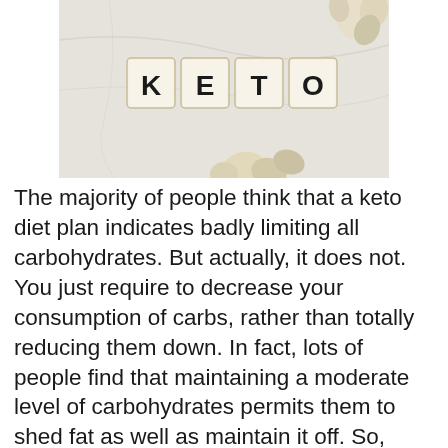[Figure (photo): A photo showing Scrabble tiles spelling 'KETO' on a marble surface with decorative floral/dried plant elements in the corners]
The majority of people think that a keto diet plan indicates badly limiting all carbohydrates. But actually, it does not. You just require to decrease your consumption of carbs, rather than totally reducing them down. In fact, lots of people find that maintaining a moderate level of carbohydrates permits them to shed fat as well as maintain it off. So, basically, keto does not imply depriving yourself! 30 Grams Of Carbs Keto